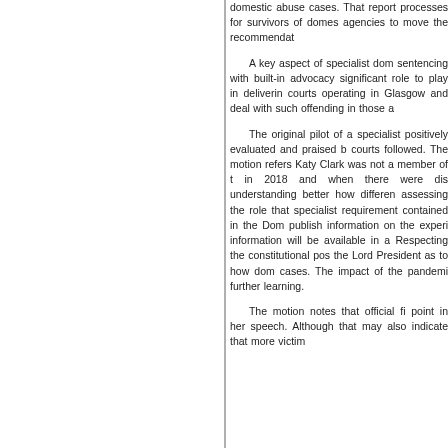domestic abuse cases. That report processes for survivors of domestic agencies to move the recommendat A key aspect of specialist dome sentencing with built-in advocacy significant role to play in delivering courts operating in Glasgow and E deal with such offending in those ar The original pilot of a specialist d positively evaluated and praised by courts followed. The motion refers, Katy Clark was not a member of the in 2018 and when there were disc understanding better how different assessing the role that specialist c requirement contained in the Domes publish information on the experi information will be available in a se Respecting the constitutional positi the Lord President as to how domes cases. The impact of the pandemic further learning. The motion notes that official figu point in her speech. Although that is may also indicate that more victims